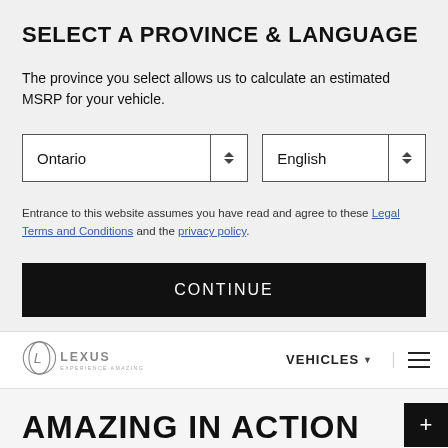SELECT A PROVINCE & LANGUAGE
The province you select allows us to calculate an estimated MSRP for your vehicle.
Entrance to this website assumes you have read and agree to these Legal Terms and Conditions and the privacy policy.
CONTINUE
[Figure (logo): Lexus logo with spindle emblem and text 'LEXUS EXPERIENCE AMAZING']
VEHICLES
AMAZING IN ACTION
THE WORK OF A LIFETIME CAN BE A LIFETIME'S WORK